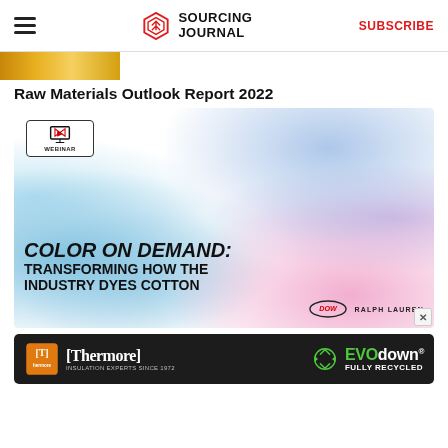SOURCING JOURNAL | SUBSCRIBE
Raw Materials Outlook Report 2022
[Figure (illustration): Webinar promotional card for 'Color on Demand: Transforming How the Industry Dyes Cotton' featuring colorful ink-in-water photography, Dow and Ralph Lauren logos, and a Sourcing Journal Webinar badge.]
[Figure (illustration): Thermore brand advertisement banner with dark background showing 'Thermore - Insulation Experts Since 1972' and 'EVO down Fully Recycled' text with recycling icon in green.]